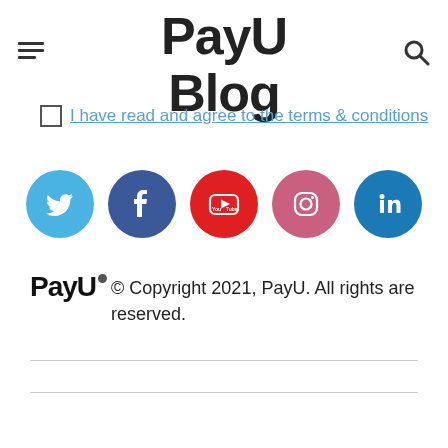PayU Blog
I have read and agree to the terms & conditions
[Figure (infographic): Row of 5 social media icon buttons: Twitter (light blue), Facebook (dark blue), YouTube (red), Instagram (pink), LinkedIn (dark blue)]
© Copyright 2021, PayU. All rights are reserved.